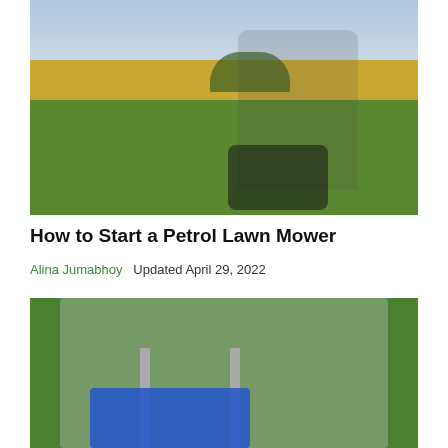[Figure (photo): Man pushing a petrol lawn mower across a large grassy field with golden crop fields and trees in the background under a cloudy sky]
How to Start a Petrol Lawn Mower
Alina Jumabhoy   Updated April 29, 2022
[Figure (photo): Person bending over a petrol lawn mower on green grass, handling a blue grass collection bag]